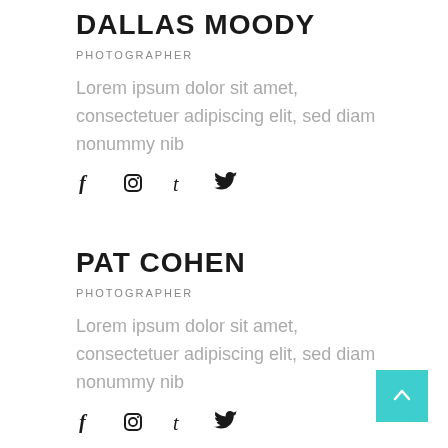DALLAS MOODY
PHOTOGRAPHER
Lorem ipsum dolor sit amet, consectetuer adipiscing elit, sed diam nonummy nib
[Figure (infographic): Social media icons: Facebook, Instagram, Tumblr, Twitter]
PAT COHEN
PHOTOGRAPHER
Lorem ipsum dolor sit amet, consectetuer adipiscing elit, sed diam nonummy nib
[Figure (infographic): Social media icons: Facebook, Instagram, Tumblr, Twitter]
[Figure (other): Teal back-to-top arrow button in bottom right corner]